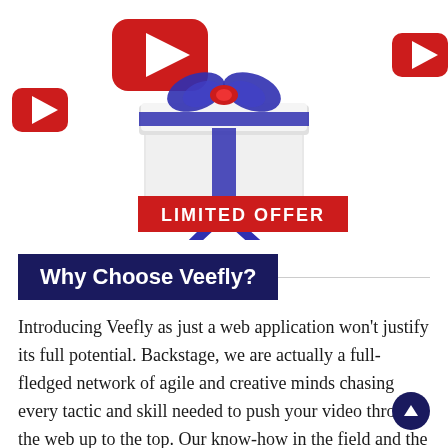[Figure (illustration): 3D illustration showing a white gift box with purple ribbon and bow, surrounded by red YouTube-style play button icons on a white background, with a red 'LIMITED OFFER' banner below.]
Why Choose Veefly?
Introducing Veefly as just a web application won't justify its full potential. Backstage, we are actually a full-fledged network of agile and creative minds chasing every tactic and skill needed to push your video through the web up to the top. Our know-how in the field and the new knowledge we keep acquiring give you a good reason to run your